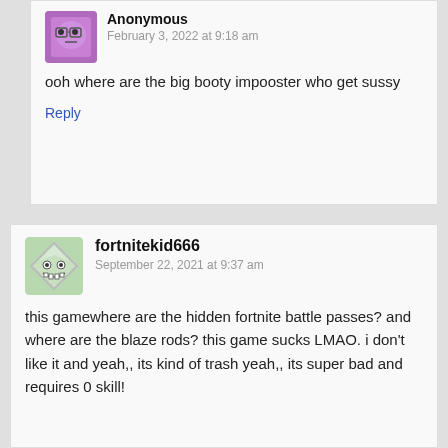[Figure (illustration): Purple cartoon avatar with glasses and neutral expression]
Anonymous
February 3, 2022 at 9:18 am
ooh where are the big booty impooster who get sussy
Reply
[Figure (illustration): Diamond-shaped monster face avatar with teeth, gray-green tones]
fortnitekid666
September 22, 2021 at 9:37 am
this gamewhere are the hidden fortnite battle passes? and where are the blaze rods? this game sucks LMAO. i don't like it and yeah,,  its kind of trash yeah,, its super bad and requires 0 skill!